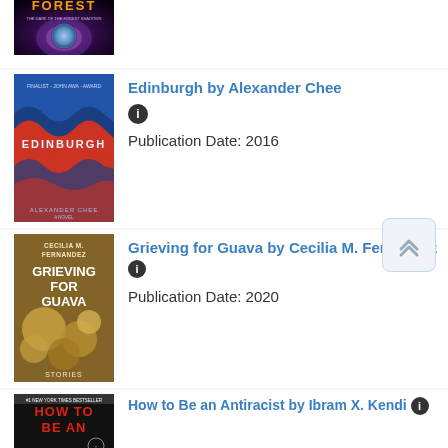[Figure (illustration): Partial book cover at top - dark fantasy book with glowing orb, title shows 'FOREST']
[Figure (illustration): Book cover: Edinburgh by Alexander Chee - blue cover with red wave pattern]
Edinburgh by Alexander Chee
Publication Date: 2016
[Figure (illustration): Book cover: Grieving for Guava by Cecilia M. Fernandez - olive/brown cover with guava imagery]
Grieving for Guava by Cecilia M. Fernandez
Publication Date: 2020
[Figure (illustration): Book cover: How to Be an Antiracist by Ibram X. Kendi - partial view, black and red cover]
How to Be an Antiracist by Ibram X. Kendi